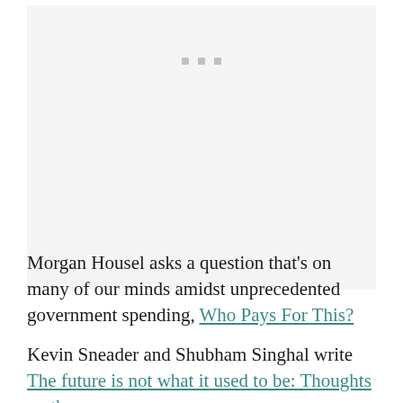[Figure (other): Large light gray placeholder image area with three small gray square dots centered near the top]
Morgan Housel asks a question that's on many of our minds amidst unprecedented government spending, Who Pays For This?
Kevin Sneader and Shubham Singhal write The future is not what it used to be: Thoughts on the